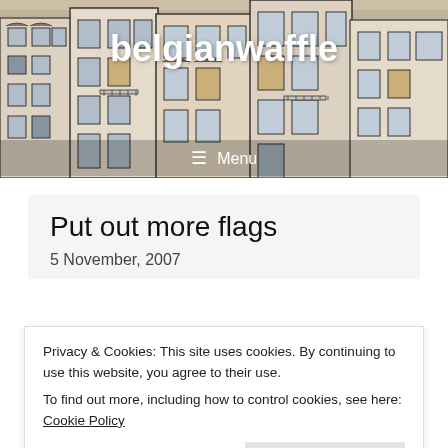[Figure (illustration): Illustrated header image showing European-style building facades in ink and watercolor style, with tan/ochre tones]
belgianwaffle
☰ Menu
Put out more flags
5 November, 2007
Privacy & Cookies: This site uses cookies. By continuing to use this website, you agree to their use. To find out more, including how to control cookies, see here: Cookie Policy
Close and accept
from their windows. I overheard a tram driver